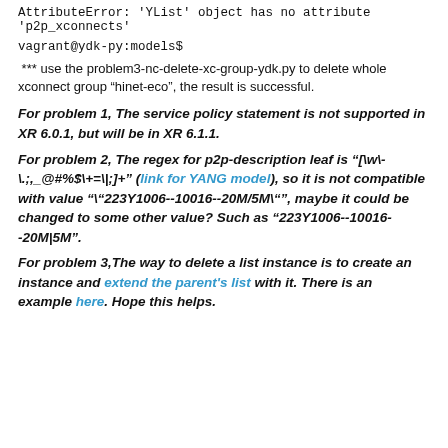AttributeError: 'YList' object has no attribute 'p2p_xconnects'
vagrant@ydk-py:models$
*** use the problem3-nc-delete-xc-group-ydk.py to delete whole xconnect group “hinet-eco”, the result is successful.
For problem 1, The service policy statement is not supported in XR 6.0.1, but will be in XR 6.1.1.
For problem 2, The regex for p2p-description leaf is "[\w\-\.;,_@#%$\+=\|;]+" (link for YANG model), so it is not compatible with value "\"223Y1006--10016--20M/5M\"", maybe it could be changed to some other value? Such as "223Y1006--10016--20M|5M".
For problem 3,The way to delete a list instance is to create an instance and extend the parent's list with it. There is an example here. Hope this helps.